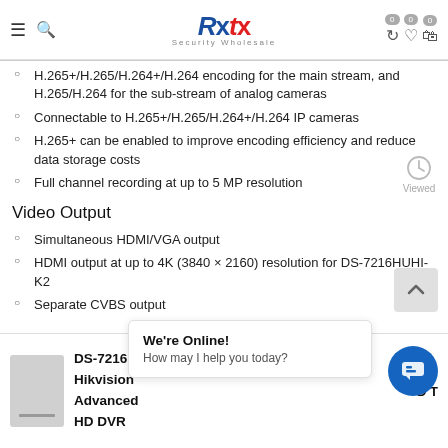Rxtx Security Wholesale
H.265+/H.265/H.264+/H.264 encoding for the main stream, and H.265/H.264 for the sub-stream of analog cameras
Connectable to H.265+/H.265/H.264+/H.264 IP cameras
H.265+ can be enabled to improve encoding efficiency and reduce data storage costs
Full channel recording at up to 5 MP resolution
Video Output
Simultaneous HDMI/VGA output
HDMI output at up to 4K (3840 × 2160) resolution for DS-7216HUHI-K2
Separate CVBS output
DS-7216HUHI-K2 Hikvision Advanced HD DVR
We're Online! How may I help you today?